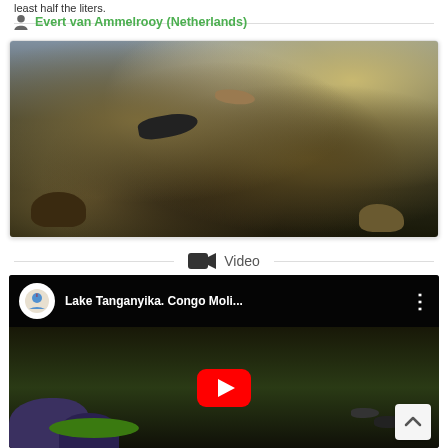least half the liters.
Evert van Ammelrooy (Netherlands)
[Figure (photo): Aquarium photo showing fish among rocks underwater, dark tones with brown and olive rock formations and a dark fish visible in the center.]
Video
[Figure (screenshot): YouTube video thumbnail for 'Lake Tanganyika. Congo Moli...' showing the video title bar with a circular logo on the left, three-dot menu on the right, and an underwater scene with rocks and fish below, with a YouTube play button overlay.]